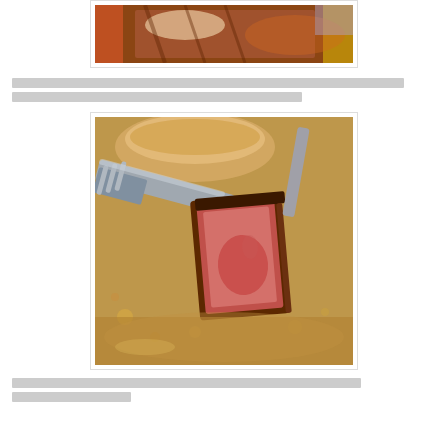[Figure (photo): Close-up photo of a cooked steak on a plate, top portion visible]
[Thai/Asian language text - redacted/blurred content spanning two lines]
[Figure (photo): Close-up photo of a fork holding a slice of cooked steak, showing the pink interior, with sauce on the plate]
[Thai/Asian language text - redacted/blurred content spanning two lines]